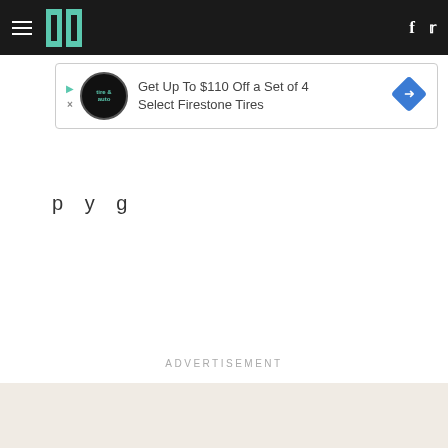HuffPost navigation bar with hamburger menu, logo, Facebook and Twitter icons
[Figure (screenshot): Advertisement banner: Get Up To $110 Off a Set of 4 Select Firestone Tires with Firestone auto logo and blue diamond direction sign]
p y g
ADVERTISEMENT